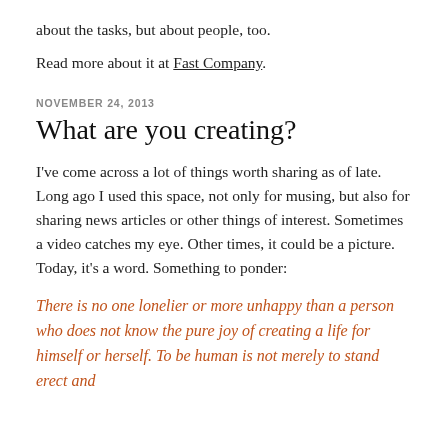about the tasks, but about people, too.
Read more about it at Fast Company.
NOVEMBER 24, 2013
What are you creating?
I've come across a lot of things worth sharing as of late. Long ago I used this space, not only for musing, but also for sharing news articles or other things of interest. Sometimes a video catches my eye. Other times, it could be a picture. Today, it's a word. Something to ponder:
There is no one lonelier or more unhappy than a person who does not know the pure joy of creating a life for himself or herself. To be human is not merely to stand erect and